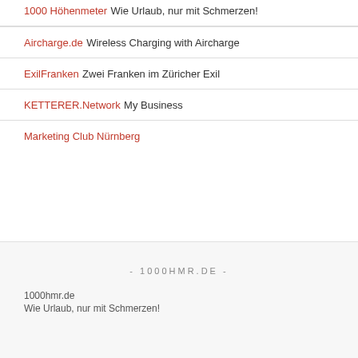1000 Höhenmeter Wie Urlaub, nur mit Schmerzen!
Aircharge.de Wireless Charging with Aircharge
ExilFranken Zwei Franken im Züricher Exil
KETTERER.Network My Business
Marketing Club Nürnberg
- 1000HMR.DE -
1000hmr.de
Wie Urlaub, nur mit Schmerzen!